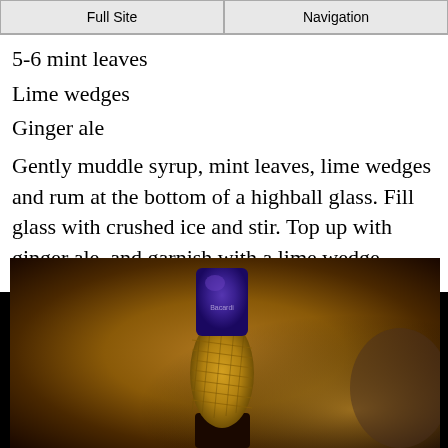Full Site | Navigation
5-6 mint leaves
Lime wedges
Ginger ale
Gently muddle syrup, mint leaves, lime wedges and rum at the bottom of a highball glass. Fill glass with crushed ice and stir. Top up with ginger ale, and garnish with a lime wedge.
[Figure (photo): Close-up photo of a bottle with a dark blue/purple foil cap and gold wire mesh netting around the neck, against a warm blurred brown background.]